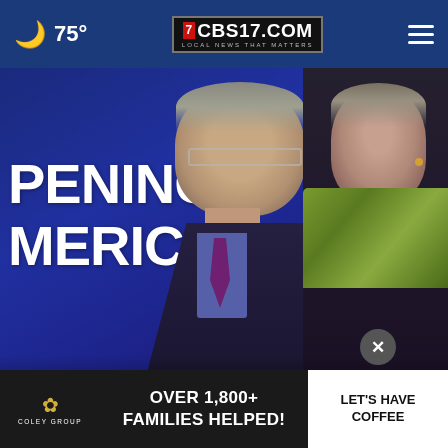75° CBS17.COM LOCAL NEWS THAT MATTERS
[Figure (photo): Photo of Dr. Fauci and Dr. Birx standing in front of a sign reading OPENING AMERICA at a press briefing]
Fauci and Birx at odds over angry encounter with Pence
[Figure (infographic): Advertisement for Coley Group: OVER 1,800+ FAMILIES HELPED! LET'S HAVE COFFEE]